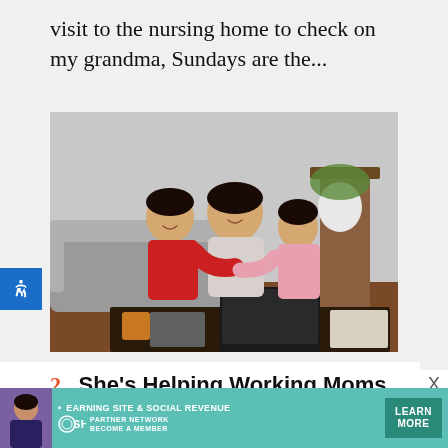visit to the nursing home to check on my grandma, Sundays are the...
[Figure (photo): A woman being hugged by two children (a boy in red and a younger girl in pink) sitting in front of a laptop on a table, with a couch and plants in the background.]
2. She's Helping Working Moms Get Remote Jobs
[Figure (infographic): SHE Partner Network advertisement banner: Earning site & social revenue. LEARN MORE button. BECOME A MEMBER text.]